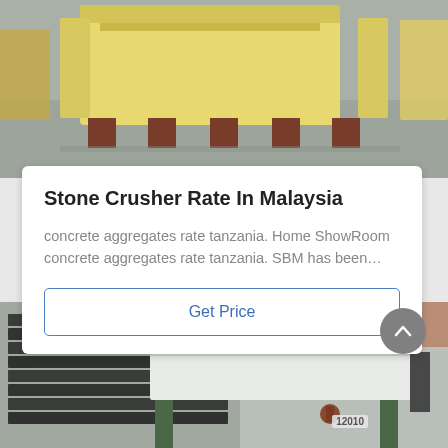[Figure (photo): Industrial stone crusher machine with yellow hopper on concrete floor in a warehouse setting]
Stone Crusher Rate In Malaysia
concrete aggregates rate tanzania. Home ShowRoom concrete aggregates rate tanzania. SBM has been…
Get Price
[Figure (photo): Industrial stone cutting or processing machine with metal table, labeled 12010, with stacked dark metal slabs in background]